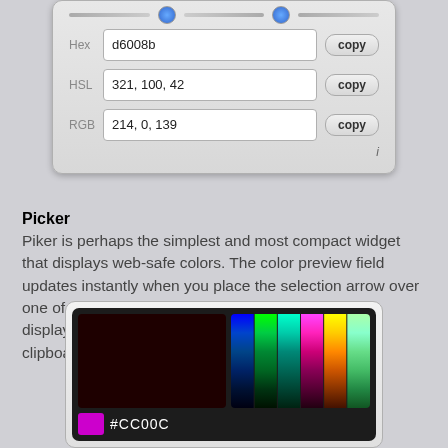[Figure (screenshot): Color picker widget showing Hex field with value d6008b, HSL field with value 321, 100, 42, and RGB field with value 214, 0, 139, each with a copy button. An italic i info icon appears at bottom right.]
Picker
Piker is perhaps the simplest and most compact widget that displays web-safe colors. The color preview field updates instantly when you place the selection arrow over one of the mini color fields. Clicking on a color field displays the hex number, which can be copied to the clipboard.
[Figure (screenshot): Piker color picker widget with dark background showing a dark red preview area on the left, a web-safe color grid on the right, and a magenta swatch with hex code #CC00C at the bottom.]